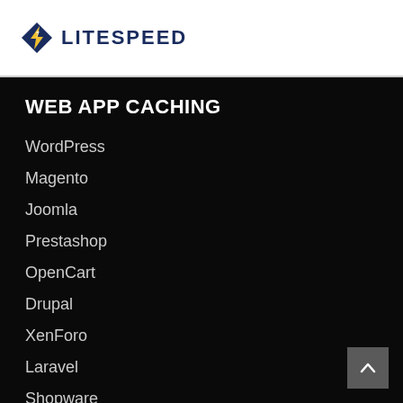[Figure (logo): LiteSpeed logo with lightning bolt icon in blue/gold and text LITESPEED in dark navy bold uppercase]
WEB APP CACHING
WordPress
Magento
Joomla
Prestashop
OpenCart
Drupal
XenForo
Laravel
Shopware